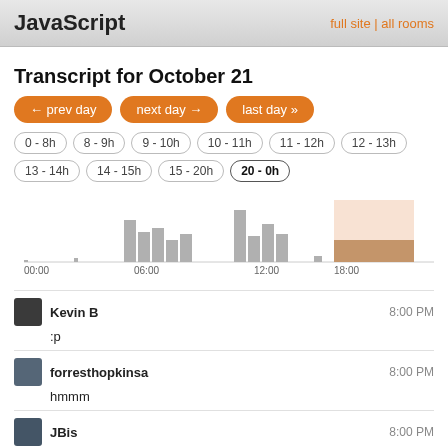JavaScript | full site | all rooms
Transcript for October 21
← prev day | next day → | last day »
0 - 8h | 8 - 9h | 9 - 10h | 10 - 11h | 11 - 12h | 12 - 13h | 13 - 14h | 14 - 15h | 15 - 20h | 20 - 0h
[Figure (bar-chart): Activity chart]
Kevin B — 8:00 PM
:p
forresthopkinsa — 8:00 PM
hmmm
JBis — 8:00 PM
@forresthopkinsa link?
forresthopkinsa — 8:00 PM
He makes it sound rare for a dev to have a good understanding of both front-end and back-end development